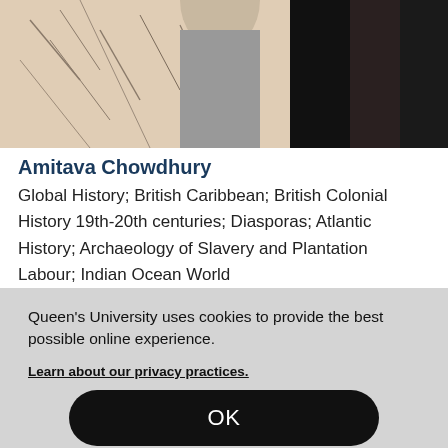[Figure (photo): Partial photo of a person standing in front of artwork/drawing, cropped at top]
Amitava Chowdhury
Global History; British Caribbean; British Colonial History 19th-20th centuries; Diasporas; Atlantic History; Archaeology of Slavery and Plantation Labour; Indian Ocean World
[Figure (photo): Partial photo of a person with light hair, with teal/blue background, cropped]
Queen's University uses cookies to provide the best possible online experience.
Learn about our privacy practices.
OK